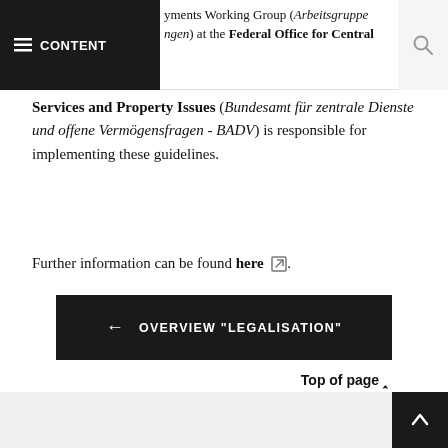CONTENT | yments Working Group (Arbeitsgruppe ngen) at the Federal Office for Central
Services and Property Issues (Bundesamt für zentrale Dienste und offene Vermögensfragen - BADV) is responsible for implementing these guidelines.
Further information can be found here.
← OVERVIEW "LEGALISATION"
Top of page ∧